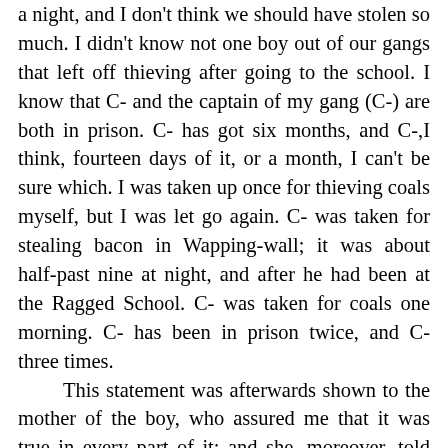a night, and I don't think we should have stolen so much. I didn't know not one boy out of our gangs that left off thieving after going to the school. I know that C- and the captain of my gang (C-) are both in prison. C- has got six months, and C-,I think, fourteen days of it, or a month, I can't be sure which. I was taken up once for thieving coals myself, but I was let go again. C- was taken for stealing bacon in Wapping-wall; it was about half-past nine at night, and after he had been at the Ragged School. C- was taken for coals one morning. C- has been in prison twice, and C- three times.
	This statement was afterwards shown to the mother of the boy, who assured me that it was true in every part of it; and she, moreover, told me, that she herself has known the old thieves come down from Ratcliff-highway and Rosemary-lane